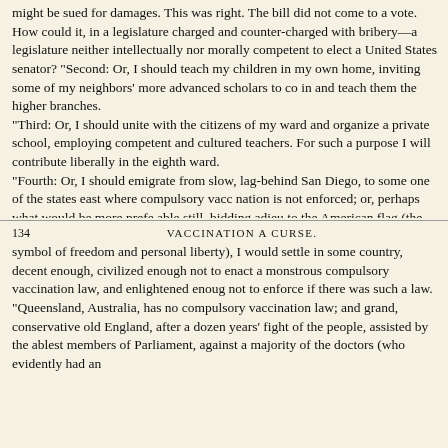might be sued for damages. This was right. The bill did not come to a vote. How could it, in a legislature charged and counter-charged with bribery—a legislature neither intellectually nor morally competent to elect a United States senator? "Second: Or, I should teach my children in my own home, inviting some of my neighbors' more advanced scholars to come in and teach them the higher branches. "Third: Or, I should unite with the citizens of my ward and organize a private school, employing competent and cultured teachers. For such a purpose I will contribute liberally in the eighth ward. "Fourth: Or, I should emigrate from slow, lag-behind San Diego, to some one of the states east where compulsory vaccination is not enforced; or, perhaps what would be more preferable still, bidding adieu to the American flag (the presumed
134    VACCINATION A CURSE.
symbol of freedom and personal liberty), I would settle in some country, decent enough, civilized enough not to enact a monstrous compulsory vaccination law, and enlightened enough not to enforce if there was such a law. "Queensland, Australia, has no compulsory vaccination law; and grand, conservative old England, after a dozen years' fight of the people, assisted by the ablest members of Parliament, against a majority of the doctors (who evidently had an